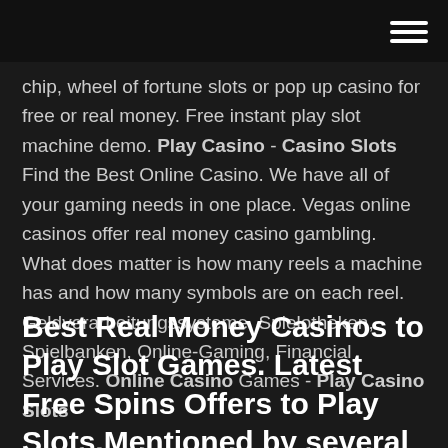chip, wheel of fortune slots or pop up casino for free or real money. Free instant play slot machine demo. Play Casino - Casino Slots Find the Best Online Casino. We have all of your gaming needs in one place. Vegas online casinos offer real money casino gambling. What does matter is how many reels a machine has and how many symbols are on each reel. Geldverarbeitungssysteme, Spielotheken, Spielbanken, Online-Gaming, Financial Services. Online Casino Games - Play Casino Slots
Best Real Money Casinos to Play Slot Games. Latest Free Spins Offers to Play Slots.Mentioned by several Casino sites as one of the